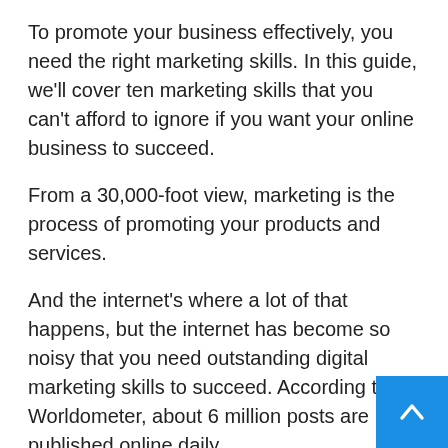To promote your business effectively, you need the right marketing skills. In this guide, we'll cover ten marketing skills that you can't afford to ignore if you want your online business to succeed.
From a 30,000-foot view, marketing is the process of promoting your products and services.
And the internet's where a lot of that happens, but the internet has become so noisy that you need outstanding digital marketing skills to succeed. According to Worldometer, about 6 million posts are published online daily.
That's the kind of noise you need to cut through if you want to be found online.
Even with the best product in your industry, your